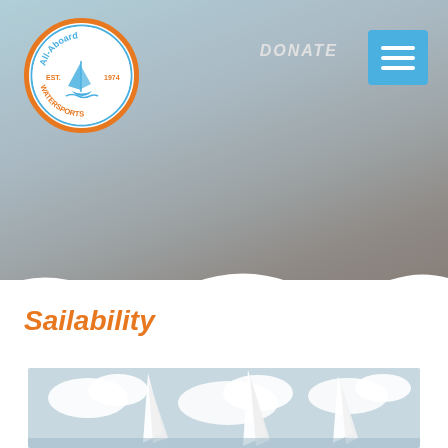[Figure (logo): All-Aboard Watersports circular logo with sailboat, EST. 1974]
DONATE
[Figure (other): Hamburger menu button (three horizontal lines on blue background)]
Book an Activity
Sailability
[Figure (photo): Sailboats with white sails against a light blue sky with clouds]